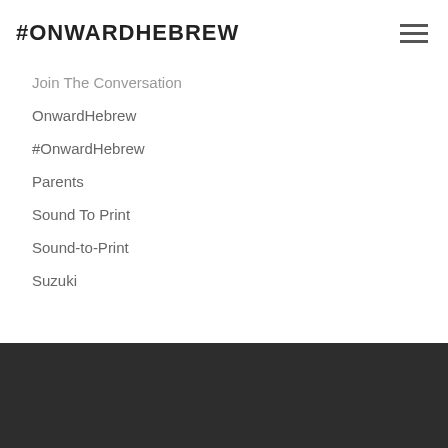#ONWARDHEBREW
Join The Conversation
OnwardHebrew
#OnwardHebrew
Parents
Sound To Print
Sound-to-Print
Suzuki
RSS Feed